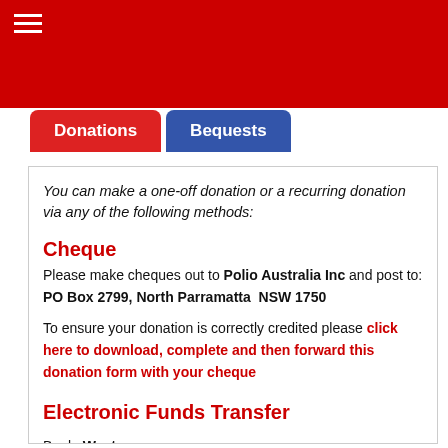≡ (hamburger menu)
Donations
Bequests
You can make a one-off donation or a recurring donation via any of the following methods:
Cheque
Please make cheques out to Polio Australia Inc and post to: PO Box 2799, North Parramatta  NSW 1750
To ensure your donation is correctly credited please click here to download, complete and then forward this donation form with your cheque
Electronic Funds Transfer
Bank: Westpac